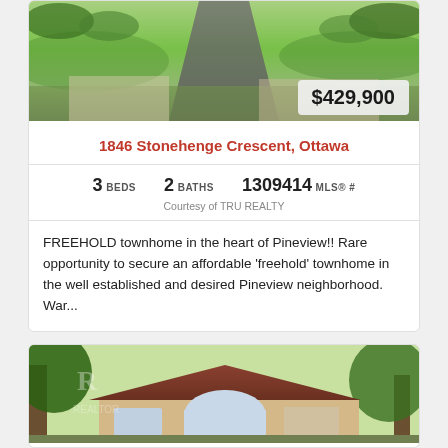[Figure (photo): Exterior photo of a townhome with green lawn and driveway]
$429,900
1846 Stonehenge Crescent, Ottawa
3 BEDS   2 BATHS   1309414 MLS® #
Courtesy of TRU REALTY
FREEHOLD townhome in the heart of Pineview!! Rare opportunity to secure an affordable 'freehold' townhome in the well established and desired Pineview neighborhood. War...
[Figure (photo): Exterior photo of a brick bungalow with large windows and trees]